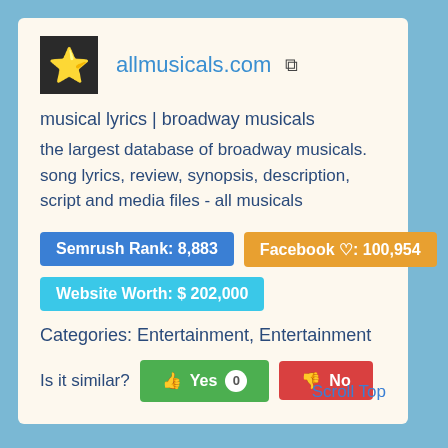allmusicals.com
musical lyrics | broadway musicals
the largest database of broadway musicals. song lyrics, review, synopsis, description, script and media files - all musicals
Semrush Rank: 8,883
Facebook ♡: 100,954
Website Worth: $ 202,000
Categories: Entertainment, Entertainment
Is it similar?  Yes  0  No
Scroll Top